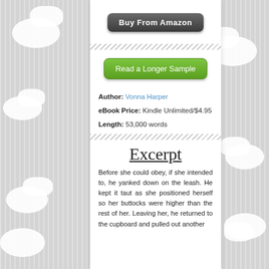[Figure (other): Buy From Amazon button — dark gray rounded rectangle button with white text]
[Figure (other): Decorative diagonal hatching divider line]
[Figure (other): Read a Longer Sample button — green rounded rectangle button with white text]
Author: Vonna Harper
eBook Price: Kindle Unlimited/$4.95
Length: 53,000 words
[Figure (other): Decorative diagonal hatching divider line]
Excerpt
Before she could obey, if she intended to, he yanked down on the leash. He kept it taut as she positioned herself so her buttocks were higher than the rest of her. Leaving her, he returned to the cupboard and pulled out another